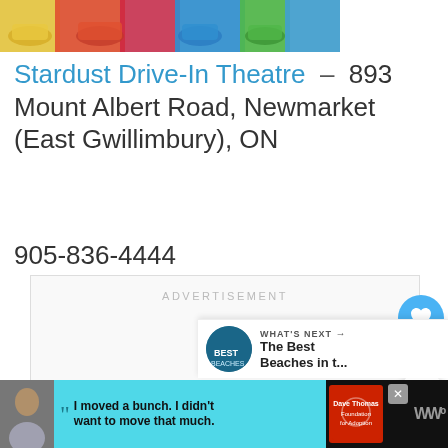[Figure (photo): Colorful toy cars or drive-in movie related image at top of page]
Stardust Drive-In Theatre – 893 Mount Albert Road, Newmarket (East Gwillimbury), ON
905-836-4444
[Figure (other): Advertisement placeholder box with ADVERTISEMENT label]
[Figure (other): Heart/like button UI element with count 3 and share button]
[Figure (other): WHAT'S NEXT panel showing The Best Beaches in t...]
[Figure (other): Bottom advertisement bar: I moved a bunch. I didn't want to move that much. Dave Thomas Foundation for Adoption]